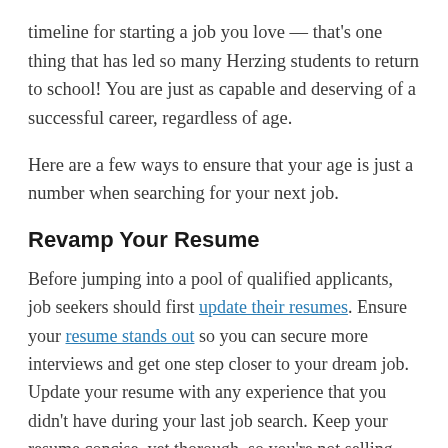timeline for starting a job you love — that's one thing that has led so many Herzing students to return to school! You are just as capable and deserving of a successful career, regardless of age.
Here are a few ways to ensure that your age is just a number when searching for your next job.
Revamp Your Resume
Before jumping into a pool of qualified applicants, job seekers should first update their resumes. Ensure your resume stands out so you can secure more interviews and get one step closer to your dream job. Update your resume with any experience that you didn't have during your last job search. Keep your resume concise, yet thorough, so you're not selling yourself short. When you submit a high-quality resume, you're putting your best foot